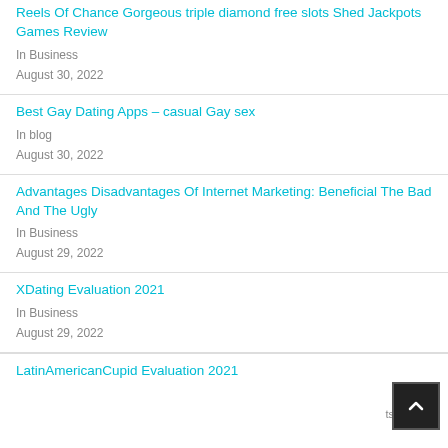Reels Of Chance Gorgeous triple diamond free slots Shed Jackpots Games Review
In Business
August 30, 2022
Best Gay Dating Apps – casual Gay sex
In blog
August 30, 2022
Advantages Disadvantages Of Internet Marketing: Beneficial The Bad And The Ugly
In Business
August 29, 2022
XDating Evaluation 2021
In Business
August 29, 2022
LatinAmericanCupid Evaluation 2021